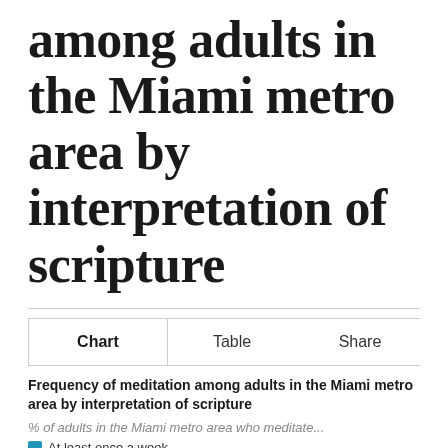among adults in the Miami metro area by interpretation of scripture
Chart  Table  Share
Frequency of meditation among adults in the Miami metro area by interpretation of scripture
% of adults in the Miami metro area who meditate...